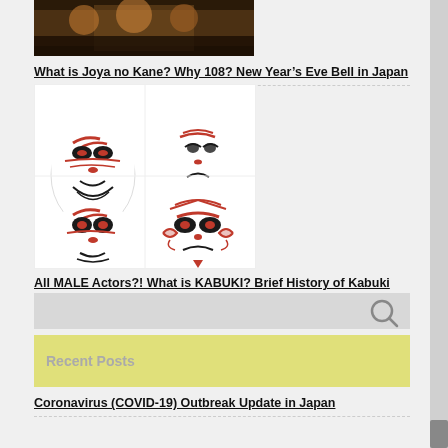[Figure (photo): Cropped photo of people at a table, dark warm tones]
What is Joya no Kane? Why 108? New Year's Eve Bell in Japan
[Figure (illustration): Four Kabuki face paint mask illustrations on white background arranged in 2x2 grid]
All MALE Actors?! What is KABUKI? Brief History of Kabuki
[Figure (other): Search bar with magnifying glass icon]
Recent Posts
Coronavirus (COVID-19) Outbreak Update in Japan